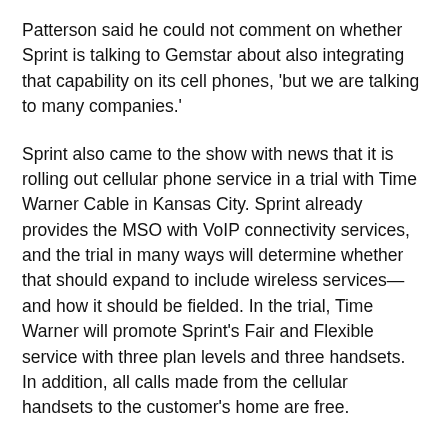Patterson said he could not comment on whether Sprint is talking to Gemstar about also integrating that capability on its cell phones, 'but we are talking to many companies.'
Sprint also came to the show with news that it is rolling out cellular phone service in a trial with Time Warner Cable in Kansas City. Sprint already provides the MSO with VoIP connectivity services, and the trial in many ways will determine whether that should expand to include wireless services—and how it should be fielded. In the trial, Time Warner will promote Sprint's Fair and Flexible service with three plan levels and three handsets. In addition, all calls made from the cellular handsets to the customer's home are free.